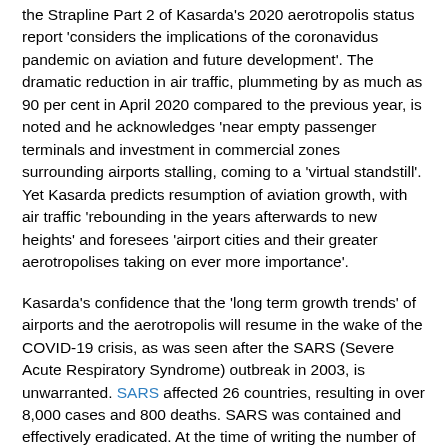the Strapline Part 2 of Kasarda's 2020 aerotropolis status report 'considers the implications of the coronavidus pandemic on aviation and future development'. The dramatic reduction in air traffic, plummeting by as much as 90 per cent in April 2020 compared to the previous year, is noted and he acknowledges 'near empty passenger terminals and investment in commercial zones surrounding airports stalling, coming to a ‘virtual standstill’. Yet Kasarda predicts resumption of aviation growth, with air traffic ‘rebounding in the years afterwards to new heights’ and foresees ‘airport cities and their greater aerotropolises taking on ever more importance’.
Kasarda’s confidence that the ‘long term growth trends’ of airports and the aerotropolis will resume in the wake of the COVID-19 crisis, as was seen after the SARS (Severe Acute Respiratory Syndrome) outbreak in 2003, is unwarranted. SARS affected 26 countries, resulting in over 8,000 cases and 800 deaths. SARS was contained and effectively eradicated. At the time of writing the number of confirmed COVID-19 cases has reached 5,593,631 and 353,334 people are known to have died from the disease. Only a few countries have not yet reported any coronavirus cases. The number of infections and deaths is